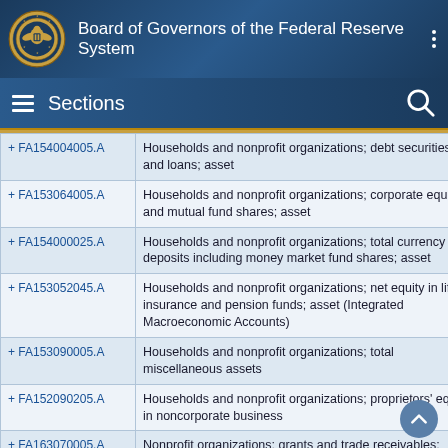Board of Governors of the Federal Reserve System
Sections
| Code | Description |
| --- | --- |
| + FA154004005.A | Households and nonprofit organizations; debt securities and loans; asset |
| + FA153064005.A | Households and nonprofit organizations; corporate equities and mutual fund shares; asset |
| + FA154000025.A | Households and nonprofit organizations; total currency and deposits including money market fund shares; asset |
| + FA153052045.A | Households and nonprofit organizations; net equity in life insurance and pension funds; asset (Integrated Macroeconomic Accounts) |
| + FA153090005.A | Households and nonprofit organizations; total miscellaneous assets |
| + FA152090205.A | Households and nonprofit organizations; proprietors' equity in noncorporate business |
| + FA163070005.A | Nonprofit organizations; grants and trade receivables; asset |